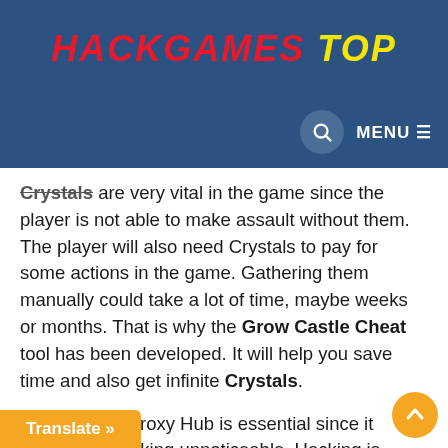HACKGAMES TOP
Crystals are very vital in the game since the player is not able to make assault without them. The player will also need Crystals to pay for some actions in the game. Gathering them manually could take a lot of time, maybe weeks or months. That is why the Grow Castle Cheat tool has been developed. It will help you save time and also get infinite Crystals.
A secure Tor Proxy Hub is essential since it makes the hacking unnoticeable. Hacking is illegal in gaming. Banning will be the immediate action if one hacks. Therefore, this feature will protect the player from being caught and the account remains safe. The player